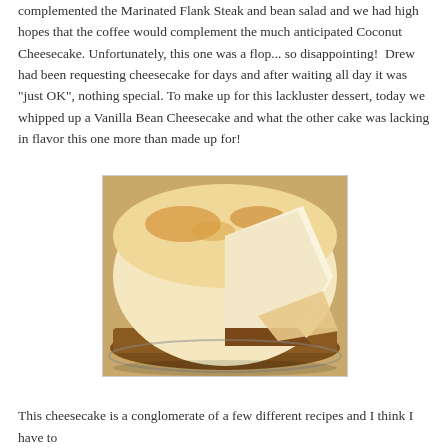complemented the Marinated Flank Steak and bean salad and we had high hopes that the coffee would complement the much anticipated Coconut Cheesecake. Unfortunately, this one was a flop... so disappointing! Drew had been requesting cheesecake for days and after waiting all day it was "just OK", nothing special. To make up for this lackluster dessert, today we whipped up a Vanilla Bean Cheesecake and what the other cake was lacking in flavor this one more than made up for!
[Figure (photo): Close-up photograph of a whole cheesecake with a slice removed, showing golden-brown browned top, creamy white filling, and graham cracker crust on a plate.]
This cheesecake is a conglomerate of a few different recipes and I think I have to